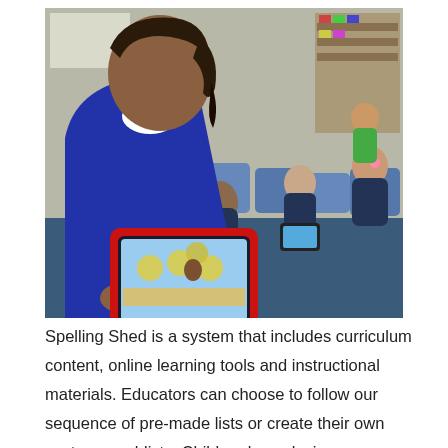[Figure (photo): Children in a primary school classroom sitting in chairs and on the floor, each using tablet devices. The main child in the foreground wears a blue school jumper and white collar shirt, holding a tablet with a colourful game on screen. Other children are visible in the background also using tablets.]
Spelling Shed is a system that includes curriculum content, online learning tools and instructional materials. Educators can choose to follow our sequence of pre-made lists or create their own custom word-lists. Children love playing our game and in particular it supports their early success to enable them to gain confidence and